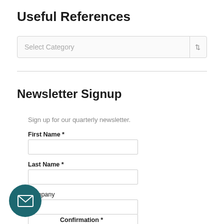Useful References
Select Category
Newsletter Signup
Sign up for our quarterly newsletter.
First Name *
Last Name *
Company
Confirmation *